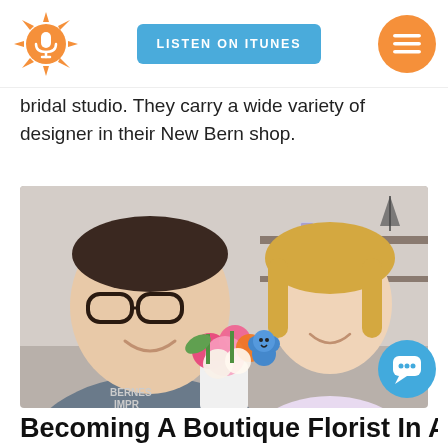LISTEN ON ITUNES
bridal studio. They carry a wide variety of designer in their New Bern shop.
[Figure (photo): Two smiling people posing together indoors; a man with glasses on the left and a blonde woman on the right, with a colorful flower bouquet between them. Shelves with items visible in background. Text 'BERNES IMPR' visible on man's shirt.]
Becoming A Boutique Florist In A